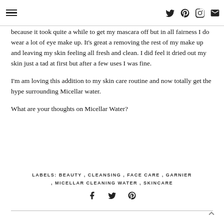[hamburger menu icon] [twitter icon] [pinterest icon] [instagram icon] [email icon]
because it took quite a while to get my mascara off but in all fairness I do wear a lot of eye make up. It's great a removing the rest of my make up and leaving my skin feeling all fresh and clean. I did feel it dried out my skin just a tad at first but after a few uses I was fine.
I'm am loving this addition to my skin care routine and now totally get the hype surrounding Micellar water.
What are your thoughts on Micellar Water?
LABELS: BEAUTY , CLEANSING , FACE CARE , GARNIER , MICELLAR CLEANING WATER , SKINCARE
[facebook icon] [twitter icon] [pinterest icon]